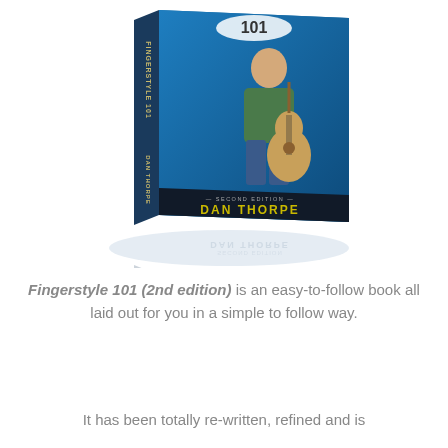[Figure (illustration): 3D book mockup of 'Fingerstyle 101 Second Edition' by Dan Thorpe. Blue cover with a man playing acoustic guitar seated. Book spine shows 'Fingerstyle 101' and 'Dan Thorpe'. A reflection of the book is visible below.]
Fingerstyle 101 (2nd edition) is an easy-to-follow book all laid out for you in a simple to follow way.
It has been totally re-written, refined and is